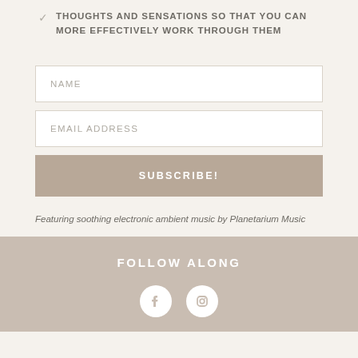THOUGHTS AND SENSATIONS SO THAT YOU CAN MORE EFFECTIVELY WORK THROUGH THEM
NAME
EMAIL ADDRESS
SUBSCRIBE!
Featuring soothing electronic ambient music by Planetarium Music
FOLLOW ALONG